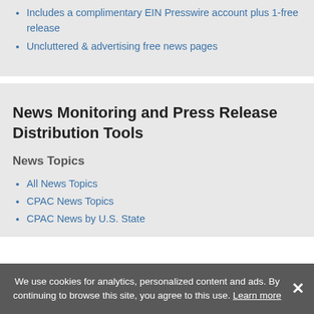Includes a complimentary EIN Presswire account plus 1-free release
Uncluttered & advertising free news pages
News Monitoring and Press Release Distribution Tools
News Topics
All News Topics
CPAC News Topics
CPAC News by U.S. State
We use cookies for analytics, personalized content and ads. By continuing to browse this site, you agree to this use. Learn more